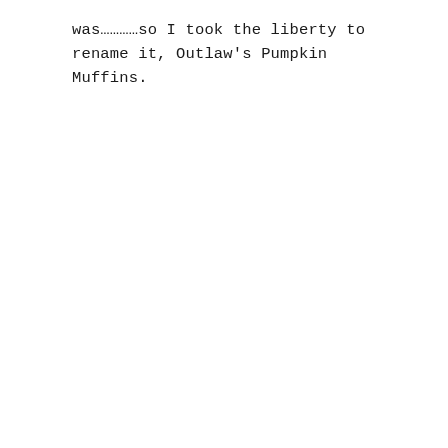was…………so I took the liberty to rename it, Outlaw's Pumpkin Muffins.